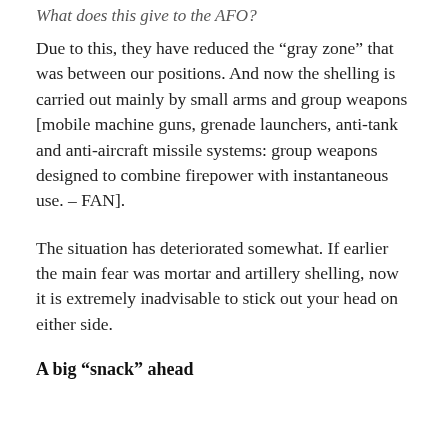What does this give to the AFO?
Due to this, they have reduced the “gray zone” that was between our positions. And now the shelling is carried out mainly by small arms and group weapons [mobile machine guns, grenade launchers, anti-tank and anti-aircraft missile systems: group weapons designed to combine firepower with instantaneous use. – FAN].
The situation has deteriorated somewhat. If earlier the main fear was mortar and artillery shelling, now it is extremely inadvisable to stick out your head on either side.
A big “snack” ahead